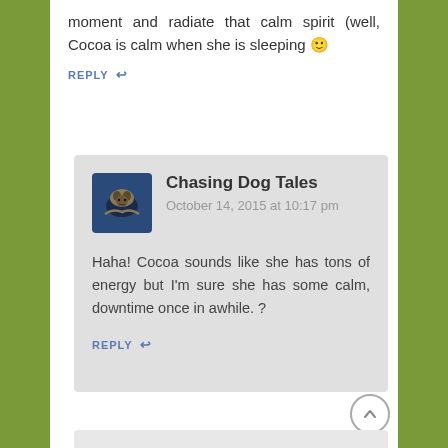moment and radiate that calm spirit (well, Cocoa is calm when she is sleeping 🙂
REPLY ↩
Chasing Dog Tales
October 14, 2015 at 10:17 pm
Haha! Cocoa sounds like she has tons of energy but I'm sure she has some calm, downtime once in awhile. ?
REPLY ↩